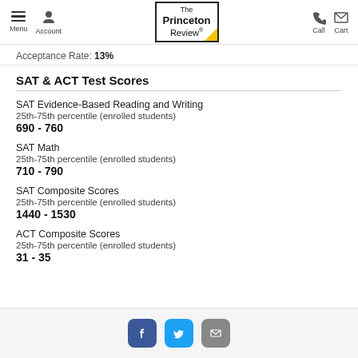Menu | Account | The Princeton Review | Call | Cart
Acceptance Rate: 13%
SAT & ACT Test Scores
SAT Evidence-Based Reading and Writing
25th-75th percentile (enrolled students)
690 - 760
SAT Math
25th-75th percentile (enrolled students)
710 - 790
SAT Composite Scores
25th-75th percentile (enrolled students)
1440 - 1530
ACT Composite Scores
25th-75th percentile (enrolled students)
31 - 35
Facebook | Twitter | Email